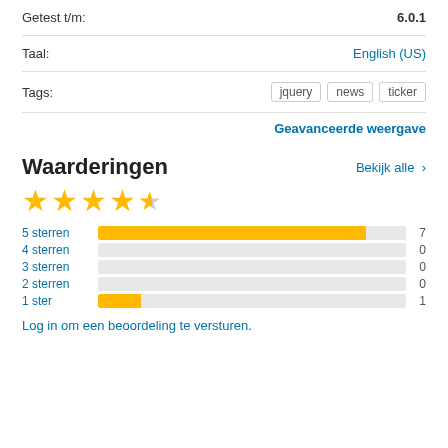Getest t/m: 6.0.1
Taal: English (US)
Tags: jquery news ticker
Geavanceerde weergave
Waarderingen
Bekijk alle >
[Figure (bar-chart): Ratings]
Log in om een beoordeling te versturen.